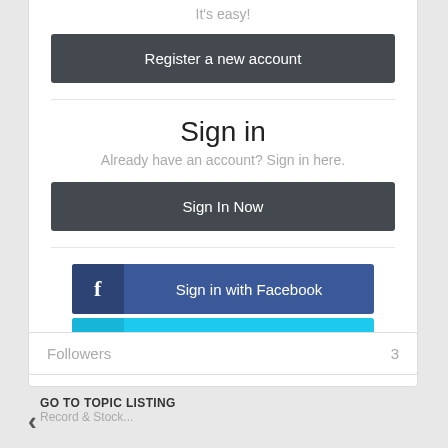It's easy!
Register a new account
Sign in
Already have an account? Sign in here.
Sign In Now
Sign in with Facebook
Sign in with Twitter
Followers  3
GO TO TOPIC LISTING